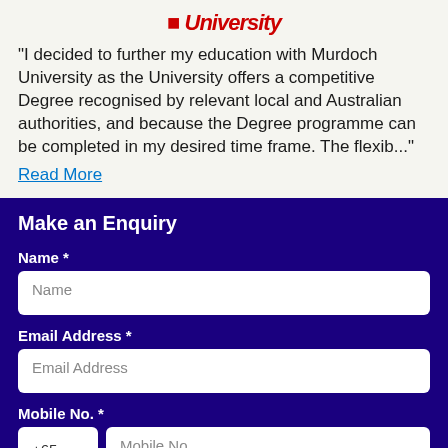[Figure (logo): Murdoch University logo — partial red stylized logo with 'University' text in red italic]
"I decided to further my education with Murdoch University as the University offers a competitive Degree recognised by relevant local and Australian authorities, and because the Degree programme can be completed in my desired time frame. The flexib..."
Read More
Make an Enquiry
Name *
Name
Email Address *
Email Address
Mobile No. *
+65
Mobile No.